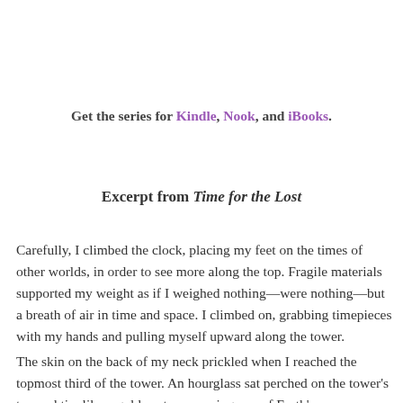Get the series for Kindle, Nook, and iBooks.
Excerpt from Time for the Lost
Carefully, I climbed the clock, placing my feet on the times of other worlds, in order to see more along the top. Fragile materials supported my weight as if I weighed nothing—were nothing—but a breath of air in time and space. I climbed on, grabbing timepieces with my hands and pulling myself upward along the tower.
The skin on the back of my neck prickled when I reached the topmost third of the tower. An hourglass sat perched on the tower's tapered tip, like a golden star crowning one of Earth's